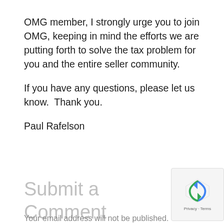OMG member, I strongly urge you to join OMG, keeping in mind the efforts we are putting forth to solve the tax problem for you and the entire seller community.

If you have any questions, please let us know.  Thank you.

Paul Rafelson
Submit a Comment
Your email address will not be published.